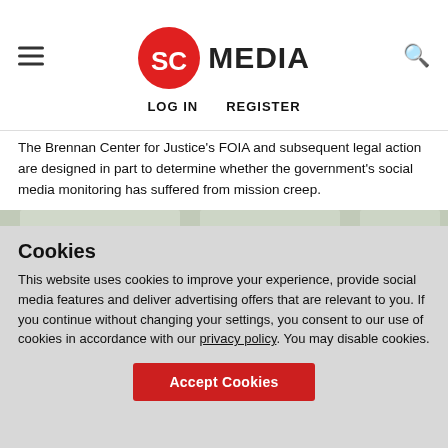SC MEDIA — LOG IN  REGISTER
The Brennan Center for Justice's FOIA and subsequent legal action are designed in part to determine whether the government's social media monitoring has suffered from mission creep.
[Figure (photo): Hospital room with medical equipment, monitors, and beds arranged in a row.]
Cookies
This website uses cookies to improve your experience, provide social media features and deliver advertising offers that are relevant to you. If you continue without changing your settings, you consent to our use of cookies in accordance with our privacy policy. You may disable cookies.
Accept Cookies